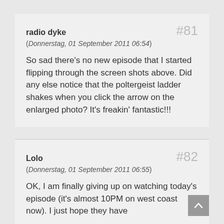radio dyke #81 (Donnerstag, 01 September 2011 06:54) So sad there's no new episode that I started flipping through the screen shots above. Did any else notice that the poltergeist ladder shakes when you click the arrow on the enlarged photo? It's freakin' fantastic!!!
Lolo #82 (Donnerstag, 01 September 2011 06:55) OK, I am finally giving up on watching today's episode (it's almost 10PM on west coast now). I just hope they have